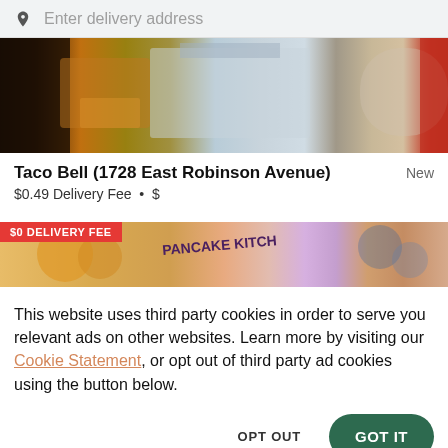Enter delivery address
[Figure (photo): Taco Bell food photo showing tacos and dishes on a dark table]
Taco Bell (1728 East Robinson Avenue)
New
$0.49 Delivery Fee • $
[Figure (photo): Pancake Kitchen restaurant banner with $0 Delivery Fee badge and colorful pancake dishes on pink background]
This website uses third party cookies in order to serve you relevant ads on other websites. Learn more by visiting our Cookie Statement, or opt out of third party ad cookies using the button below.
OPT OUT
GOT IT